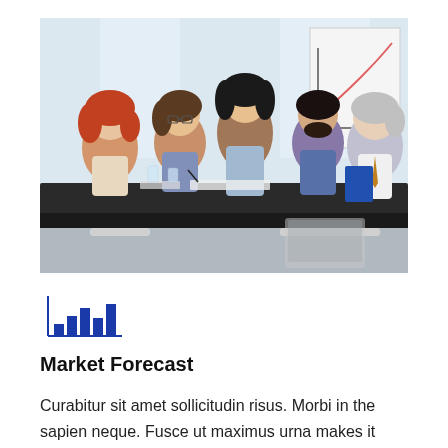[Figure (photo): Business meeting photo showing five professionals around a conference table. A woman stands in the center, others are seated. A whiteboard with a line graph is visible in the background.]
[Figure (bar-chart): Small blue bar chart icon with an L-shaped axis, showing several bars of increasing height from left to right.]
Market Forecast
Curabitur sit amet sollicitudin risus. Morbi in the sapien neque. Fusce ut maximus urna makes it